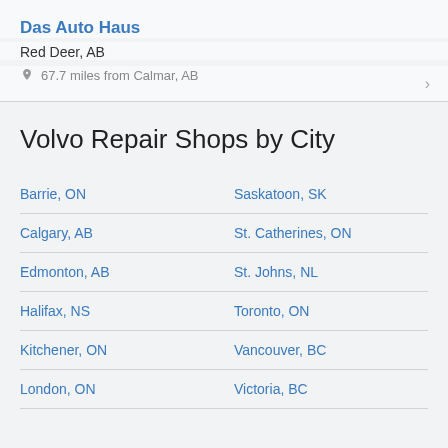Das Auto Haus
Red Deer, AB
67.7 miles from Calmar, AB
Volvo Repair Shops by City
Barrie, ON
Saskatoon, SK
Calgary, AB
St. Catherines, ON
Edmonton, AB
St. Johns, NL
Halifax, NS
Toronto, ON
Kitchener, ON
Vancouver, BC
London, ON
Victoria, BC